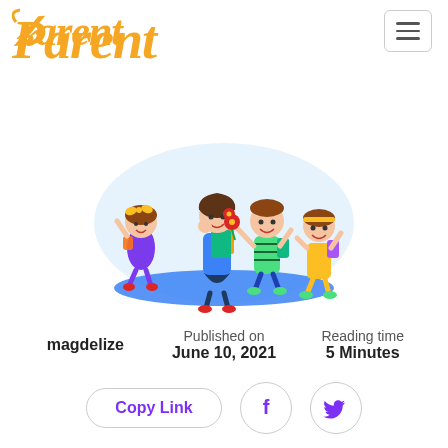Parent
[Figure (illustration): Cartoon illustration of a teacher holding books with three happy children around her, standing on a blue oval ground with a light blue background bubble]
magdelize
Published on June 10, 2021
Reading time 5 Minutes
Copy Link
[Figure (logo): Facebook icon (circle with f)]
[Figure (logo): Twitter bird icon]